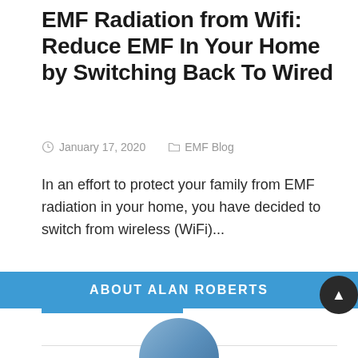EMF Radiation from Wifi: Reduce EMF In Your Home by Switching Back To Wired
January 17, 2020    EMF Blog
In an effort to protect your family from EMF radiation in your home, you have decided to switch from wireless (WiFi)...
KEEP READING
1  2  ▶
ABOUT ALAN ROBERTS
[Figure (illustration): Partial circular avatar image at the bottom of the page]